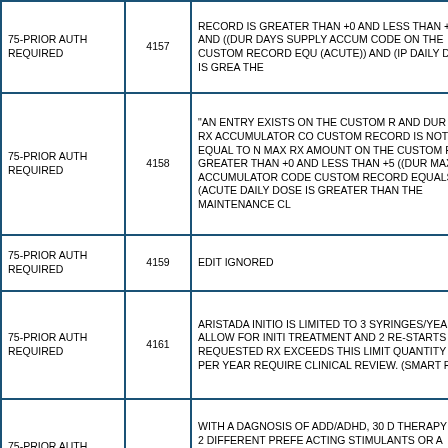| Reject Code Description | Edit Code | Edit Description |
| --- | --- | --- |
| 75-PRIOR AUTH REQUIRED | 4157 | RECORD IS GREATER THAN +0 AND LESS THAN +999 AND ((DUR DAYS SUPPLY ACCUM CODE ON THE CUSTOM RECORD EQU (ACUTE)) AND (IP DAILY DOSE IS GREA THE |
| 75-PRIOR AUTH REQUIRED | 4158 | "AN ENTRY EXISTS ON THE CUSTOM R AND DUR MAX RX ACCUMULATOR CO CUSTOM RECORD IS NOT EQUAL TO N MAX RX AMOUNT ON THE CUSTOM RE GREATER THAN +0 AND LESS THAN +5 ((DUR MAX RX ACCUMULATOR CODE CUSTOM RECORD EQUALS C (ACUTE DAILY DOSE IS GREATER THAN THE MAINTENANCE CL |
| 75-PRIOR AUTH REQUIRED | 4159 | EDIT IGNORED |
| 75-PRIOR AUTH REQUIRED | 4161 | ARISTADA INITIO IS LIMITED TO 3 SYRINGES/YEAR TO ALLOW FOR INITI TREATMENT AND 2 RE-STARTS PER Y REQUESTED RX EXCEEDS THIS LIMIT QUANTITY OF > 3 PER YEAR REQUIRE CLINICAL REVIEW. (SMART PA) |
| 75-PRIOR AUTH REQUIRED | 4179 | WITH A DAGNOSIS OF ADD/ADHD, 30 D THERAPY WITH 2 DIFFERENT PREFE ACTING STIMULANTS OR A HISTORY O FOR A 30 DAY SUPPLY WITH THE SAM PREFERRED LA STIMULANT AS THE IN CLAIM IN THE PAST 185 DAYS IS REQ |